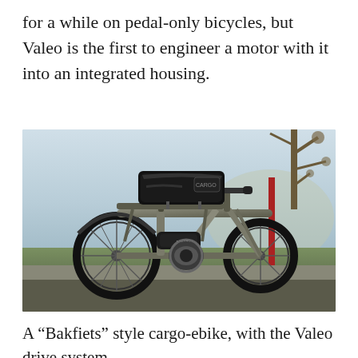for a while on pedal-only bicycles, but Valeo is the first to engineer a motor with it into an integrated housing.
[Figure (photo): A 'Bakfiets' style cargo e-bike with a Valeo drive system. The bike has a long cargo rack over the rear wheel carrying a large black waterproof bag, a low-slung frame, and the Valeo motor/battery unit visible at the bottom bracket. The bike is photographed outdoors against a landscape background with bare trees.]
A “Bakfiets” style cargo-ebike, with the Valeo drive system.